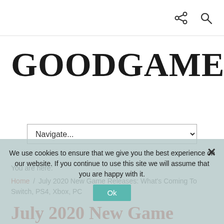GOODGAMEEM (site header with share and search icons)
GOODGAMEEM
Navigate... (dropdown navigation)
You are here:
Home / July 2020 New Game Releases: What's Coming To Switch, PS4, Xbox, PC
July 2020 New Game Releases: What's Coming To Switch, PS4,
We use cookies to ensure that we give you the best experience on our website. If you continue to use this site we will assume that you are happy with it.